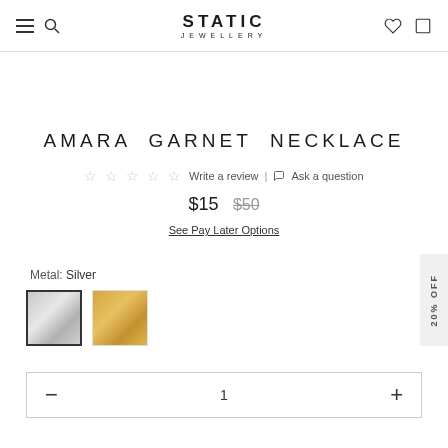STATIC JEWELLERY
AMARA GARNET NECKLACE
Write a review | Ask a question
$15  $50
See Pay Later Options
Metal: Silver
[Figure (photo): Two metal swatches: silver (selected, with dark border) and gold]
1